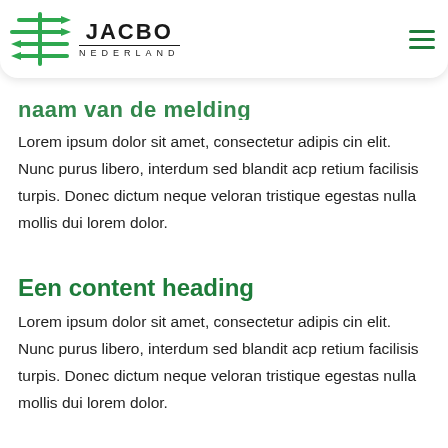[Figure (logo): Jacbo Nederland logo with green arrows/lines graphic and bold text JACBO NEDERLAND]
Navigation bar with Jacbo Nederland logo and hamburger menu icon
naam van de melding
Lorem ipsum dolor sit amet, consectetur adipis cin elit. Nunc purus libero, interdum sed blandit acp retium facilisis turpis. Donec dictum neque veloran tristique egestas nulla mollis dui lorem dolor.
Een content heading
Lorem ipsum dolor sit amet, consectetur adipis cin elit. Nunc purus libero, interdum sed blandit acp retium facilisis turpis. Donec dictum neque veloran tristique egestas nulla mollis dui lorem dolor.